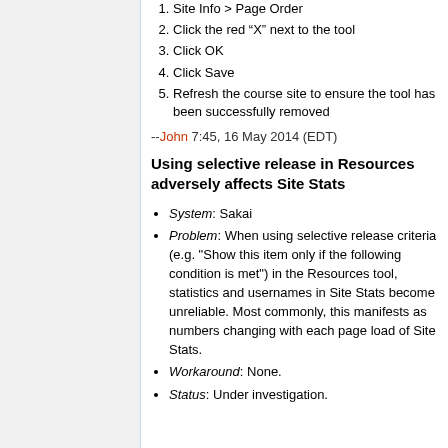1. Site Info > Page Order
2. Click the red “X” next to the tool
3. Click OK
4. Click Save
5. Refresh the course site to ensure the tool has been successfully removed
--John 7:45, 16 May 2014 (EDT)
Using selective release in Resources adversely affects Site Stats
System: Sakai
Problem: When using selective release criteria (e.g. "Show this item only if the following condition is met") in the Resources tool, statistics and usernames in Site Stats become unreliable. Most commonly, this manifests as numbers changing with each page load of Site Stats.
Workaround: None.
Status: Under investigation.